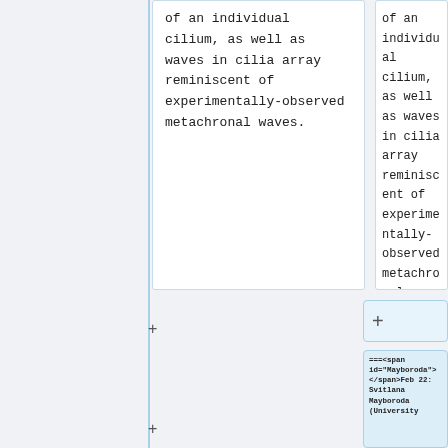of an individual cilium, as well as waves in cilia array reminiscent of experimentally-observed metachronal waves.
of an individual cilium, as well as waves in cilia array reminiscent of experimentally-observed metachronal waves.
===
===<span id="Mayboroda"> </span>Feb 22: Svitlana Mayboroda (University